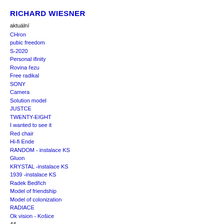RICHARD WIESNER
aktuální
CHron
pubic freedom
S-2020
Personal ifinity
Rovina řezu
Free radikal
SONY
Camera
Solution model
JUSTCE
TWENTY-EIGHT
I wanted to see it
Red chair
Hi-fi Ende
RANDOM - instalace KS
Gluon
KRYSTAL -instalace KS
1939 -instalace KS
Radek Bedřich
Model of friendship
Model of colonization
RADIACE
Ok vision - Košice
44
Cnn - Dox
Eine erholungsrise - Ostrava
1178 bez DPH
Bird BOX
Úhel pohledu
Pastva
Projekty
Plants
Power switch
Champignon
Canada